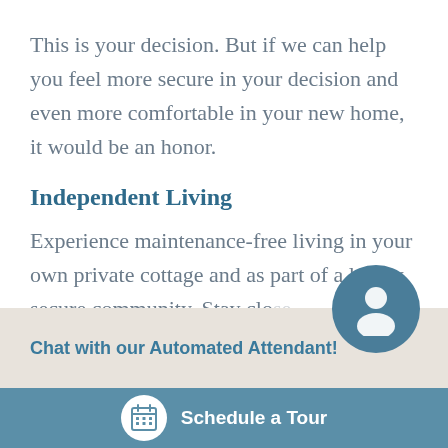This is your decision. But if we can help you feel more secure in your decision and even more comfortable in your new home, it would be an honor.
Independent Living
Experience maintenance-free living in your own private cottage and as part of a lovely, secure community. Stay close to friends and close to family...
Chat with our Automated Attendant!
[Figure (illustration): Circular avatar icon of a person silhouette in dark teal blue circle]
[Figure (illustration): Calendar icon in white circle on blue bar]
Schedule a Tour